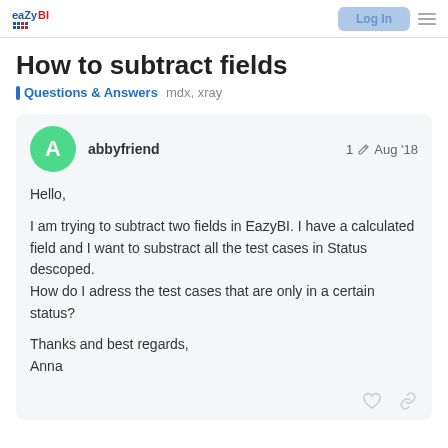eazyBI — Log in
How to subtract fields
Questions & Answers   mdx, xray
abbyfriend   1   Aug '18
Hello,

I am trying to subtract two fields in EazyBI. I have a calculated field and I want to substract all the test cases in Status descoped.
How do I adress the test cases that are only in a certain status?

Thanks and best regards,
Anna